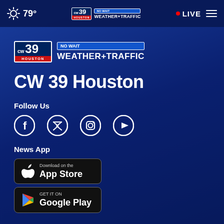79° CW39 Houston NO WAIT WEATHER+TRAFFIC • LIVE
[Figure (logo): CW39 Houston NO WAIT WEATHER+TRAFFIC logo]
CW 39 Houston
Follow Us
[Figure (illustration): Social media icons: Facebook, Twitter, Instagram, YouTube]
News App
[Figure (illustration): Download on the App Store button]
[Figure (illustration): Get it on Google Play button]